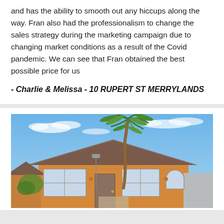and has the ability to smooth out any hiccups along the way. Fran also had the professionalism to change the sales strategy during the marketing campaign due to changing market conditions as a result of the Covid pandemic. We can see that Fran obtained the best possible price for us
- Charlie & Melissa - 10 RUPERT ST MERRYLANDS
[Figure (photo): Exterior photo of a single-storey brick house with a tall palm tree in front, terracotta roof tiles, large windows, and a blue sky with wispy clouds in the background.]